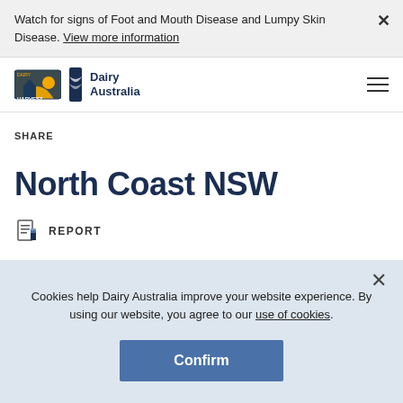Watch for signs of Foot and Mouth Disease and Lumpy Skin Disease. View more information
[Figure (logo): Harvest Dairy and Dairy Australia logos with hamburger menu icon]
SHARE
North Coast NSW
REPORT
Cookies help Dairy Australia improve your website experience. By using our website, you agree to our use of cookies.
Confirm